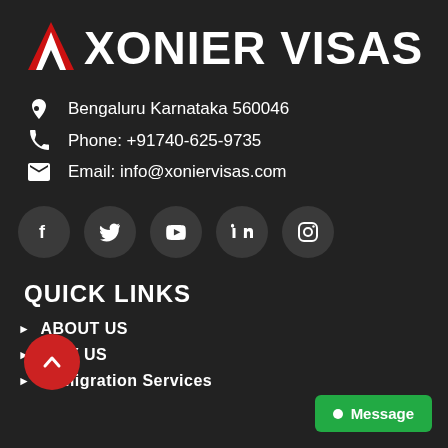[Figure (logo): Xonier Visas logo with red chevron/arrow icon and bold white text 'XONIER VISAS']
Bengaluru Karnataka 560046
Phone: +91740-625-9735
Email: info@xoniervisas.com
[Figure (infographic): Row of 5 social media icon circles: Facebook, Twitter, YouTube, LinkedIn, Instagram]
QUICK LINKS
ABOUT US
WHY US
Immigration Services